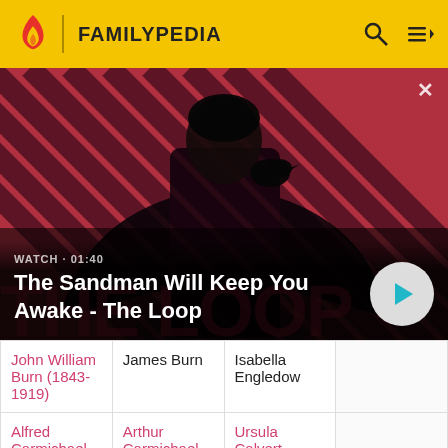FAMILYPEDIA
[Figure (screenshot): Video banner for 'The Sandman Will Keep You Awake - The Loop' with a dramatic figure wearing a black cloak and a raven on the shoulder, on a red-and-black striped background. Shows WATCH • 01:40 label and a play button.]
WATCH • 01:40
The Sandman Will Keep You Awake - The Loop
|  |  |  |  |
| --- | --- | --- | --- |
| John William Burn (1843-1919) | James Burn | Isabella Engledow |  |
| Alfred Carmichael (1829-1900) | Arthur Carmichael (1794-1858) | Ursula Calvert (1800-1883) |  |